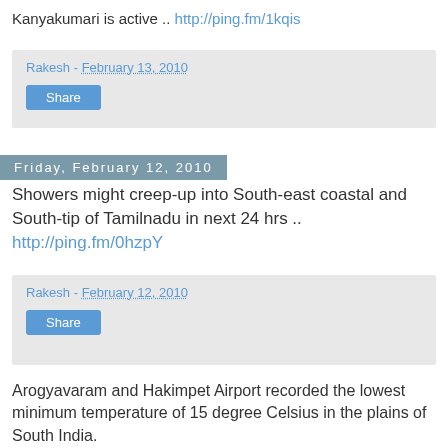Kanyakumari is active .. http://ping.fm/1kqis
Rakesh - February 13, 2010
Share
Friday, February 12, 2010
Showers might creep-up into South-east coastal and South-tip of Tamilnadu in next 24 hrs .. http://ping.fm/0hzpY
Rakesh - February 12, 2010
Share
Arogyavaram and Hakimpet Airport recorded the lowest minimum temperature of 15 degree Celsius in the plains of South India.